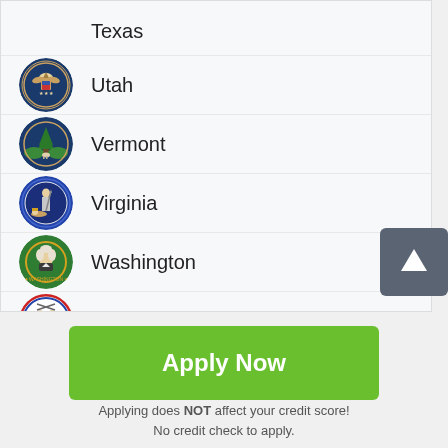Texas
Utah
Vermont
Virginia
Washington
West Virginia
[Figure (other): Scroll to top button with upward arrow icon]
Apply Now
Applying does NOT affect your credit score! No credit check to apply.